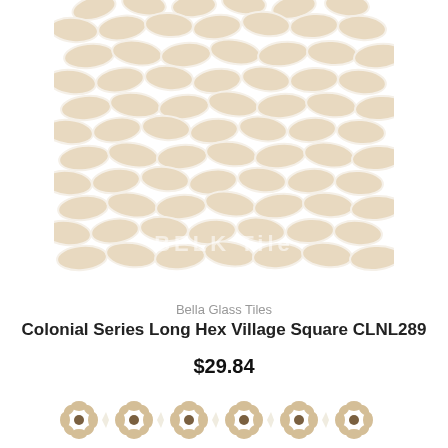[Figure (photo): Mosaic tile pattern showing elongated hexagonal leaf-shaped beige/cream stone tiles arranged in rows with white grout lines. Belk Tile watermark visible.]
Bella Glass Tiles
Colonial Series Long Hex Village Square CLNL289
$29.84
[Figure (photo): Mosaic tile border pattern showing circular flower motifs with beige oval petals and dark brown center dots on a white background.]